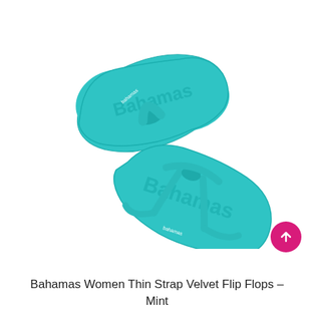[Figure (photo): Two mint/turquoise Bahamas brand flip flops with thin straps, shown from the sole side with the Bahamas logo embossed on the footbed. One sandal is flipped upside down showing the sole, the other shows the top with a thin strap and small Bahamas script label.]
Bahamas Women Thin Strap Velvet Flip Flops - Mint